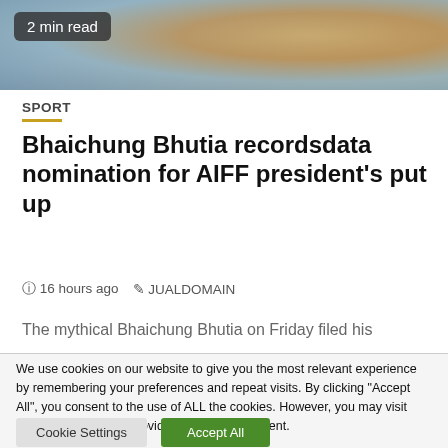[Figure (photo): Background photo showing a person near a microphone, partially cropped, with a '2 min read' badge overlay]
SPORT
Bhaichung Bhutia recordsdata nomination for AIFF president's put up
16 hours ago  JUALDOMAIN
The mythical Bhaichung Bhutia on Friday filed his
We use cookies on our website to give you the most relevant experience by remembering your preferences and repeat visits. By clicking "Accept All", you consent to the use of ALL the cookies. However, you may visit "Cookie Settings" to provide a controlled consent.